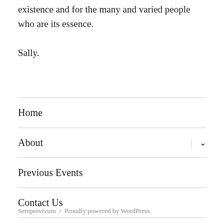existence and for the many and varied people who are its essence.
Sally.
Home
About
Previous Events
Contact Us
Sempervivum / Proudly powered by WordPress